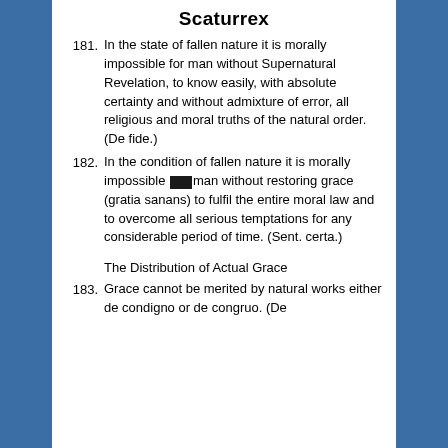Scaturrex
181. In the state of fallen nature it is morally impossible for man without Supernatural Revelation, to know easily, with absolute certainty and without admixture of error, all religious and moral truths of the natural order. (De fide.)
182. In the condition of fallen nature it is morally impossible [redacted] man without restoring grace (gratia sanans) to fulfil the entire moral law and to overcome all serious temptations for any considerable period of time. (Sent. certa.)
The Distribution of Actual Grace
183. Grace cannot be merited by natural works either de condigno or de congruo. (De